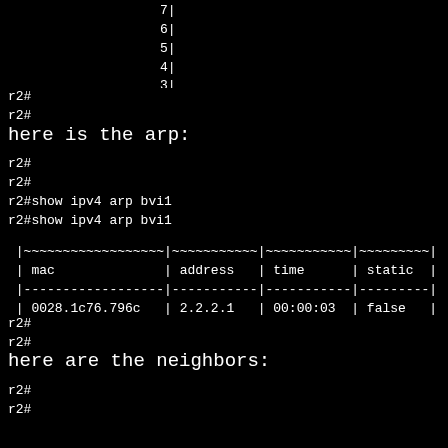[Figure (screenshot): Terminal output showing a bandwidth graph with y-axis values 0-7 and x-axis showing bps from 0 to 40+, with hash marks at the 0 row]
r2#
r2#
here is the arp:
r2#
r2#
r2#show ipv4 arp bvi1
r2#show ipv4 arp bvi1
| mac | address | time | static |
| --- | --- | --- | --- |
| 0028.1c76.796c | 2.2.2.1 | 00:00:03 | false |
r2#
r2#
here are the neighbors:
r2#
r2#